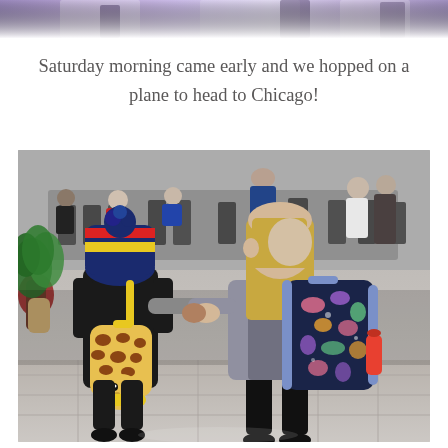[Figure (photo): Partial view of a colorful image at the top of the page, appears to be a banner or header image with purple/blue tones]
Saturday morning came early and we hopped on a plane to head to Chicago!
[Figure (photo): Two young children standing in an airport holding hands, viewed from behind. The smaller child on the left wears a colorful striped winter hat and carries a giraffe-shaped backpack. The taller child on the right has blonde hair and wears a grey jacket with a dark blue unicorn/mermaid backpack. The airport terminal is visible in the background with seating areas and other travelers.]